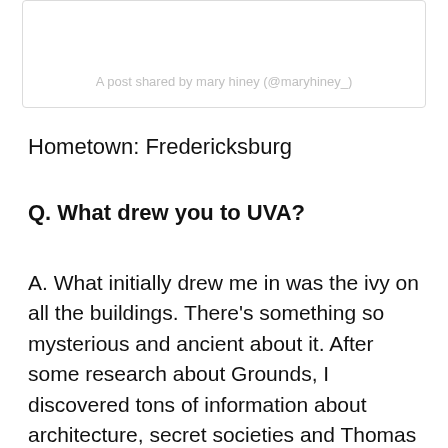[Figure (screenshot): Instagram embed widget showing caption text: A post shared by mary hiney (@maryhiney_)]
Hometown: Fredericksburg
Q. What drew you to UVA?
A. What initially drew me in was the ivy on all the buildings. There's something so mysterious and ancient about it. After some research about Grounds, I discovered tons of information about architecture, secret societies and Thomas Jefferson. As a history buff, I love not only the academic and vibrant community, but how you